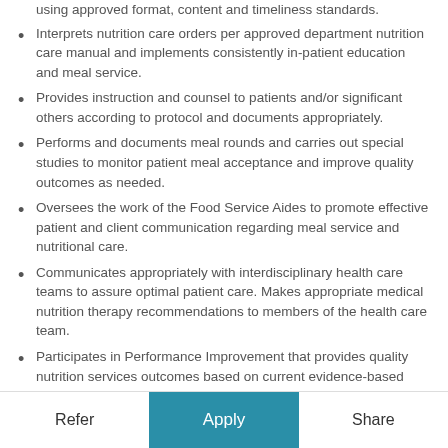using approved format, content and timeliness standards.
Interprets nutrition care orders per approved department nutrition care manual and implements consistently in-patient education and meal service.
Provides instruction and counsel to patients and/or significant others according to protocol and documents appropriately.
Performs and documents meal rounds and carries out special studies to monitor patient meal acceptance and improve quality outcomes as needed.
Oversees the work of the Food Service Aides to promote effective patient and client communication regarding meal service and nutritional care.
Communicates appropriately with interdisciplinary health care teams to assure optimal patient care. Makes appropriate medical nutrition therapy recommendations to members of the health care team.
Participates in Performance Improvement that provides quality nutrition services outcomes based on current evidence-based standards and meets regulatory standards (DNV
Contributes nutrition expertise by serving as a member of
Refer   Apply   Share